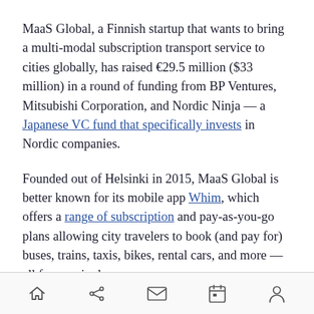MaaS Global, a Finnish startup that wants to bring a multi-modal subscription transport service to cities globally, has raised €29.5 million ($33 million) in a round of funding from BP Ventures, Mitsubishi Corporation, and Nordic Ninja — a Japanese VC fund that specifically invests in Nordic companies.
Founded out of Helsinki in 2015, MaaS Global is better known for its mobile app Whim, which offers a range of subscription and pay-as-you-go plans allowing city travelers to book (and pay for) buses, trains, taxis, bikes, rental cars, and more — all from a single app.
[home] [share] [mail] [calendar] [profile]